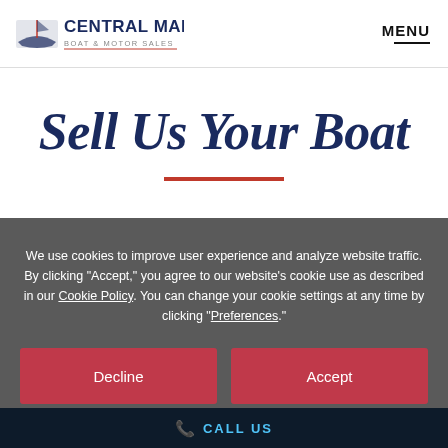CENTRAL MARINE BOAT & MOTOR SALES | MENU
Sell Us Your Boat
We use cookies to improve user experience and analyze website traffic. By clicking “Accept,” you agree to our website’s cookie use as described in our Cookie Policy. You can change your cookie settings at any time by clicking “Preferences.”
Decline
Accept
Preferences
CALL US